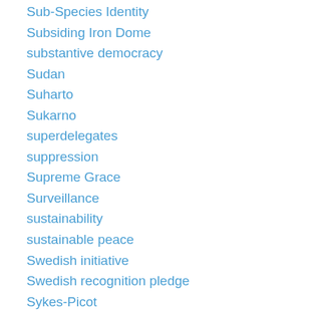Sub-Species Identity
Subsiding Iron Dome
substantive democracy
Sudan
Suharto
Sukarno
superdelegates
suppression
Supreme Grace
Surveillance
sustainability
sustainable peace
Swedish initiative
Swedish recognition pledge
Sykes-Picot
Sykes-Picot Agreement
Symbolic Politics
Syria
Syria Withdrawal
Syrian ceasefire